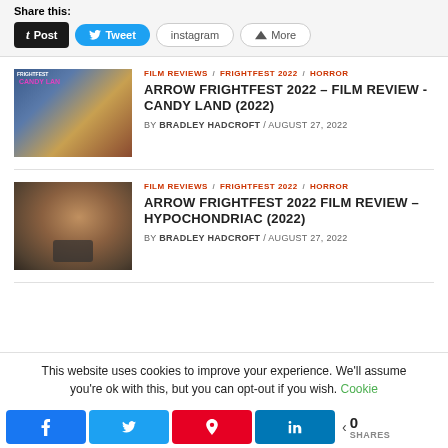Share this:
Post  Tweet  instagram  More
[Figure (photo): Thumbnail image for Candy Land (2022) FrightFest film review — shows two figures on a beach with FrightFest and Candy Land text overlay]
FILM REVIEWS / FRIGHTFEST 2022 / HORROR
ARROW FRIGHTFEST 2022 – FILM REVIEW - CANDY LAND (2022)
BY BRADLEY HADCROFT / AUGUST 27, 2022
[Figure (photo): Thumbnail image for Hypochondriac (2022) FrightFest film review — shows a man with a surprised/scared expression]
FILM REVIEWS / FRIGHTFEST 2022 / HORROR
ARROW FRIGHTFEST 2022 FILM REVIEW – HYPOCHONDRIAC (2022)
BY BRADLEY HADCROFT / AUGUST 27, 2022
This website uses cookies to improve your experience. We'll assume you're ok with this, but you can opt-out if you wish. Cookie
0 SHARES